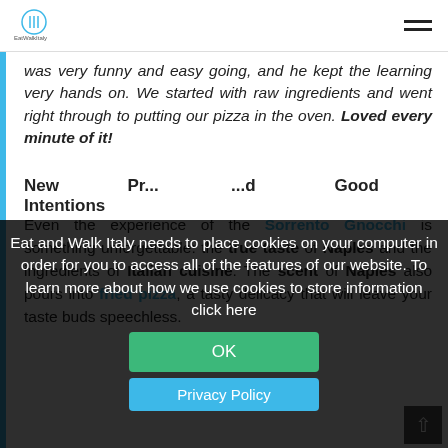Eat and Walk Italy logo | hamburger menu
was very funny and easy going, and he kept the learning very hands on. We started with raw ingredients and went right through to putting our pizza in the oven. Loved every minute of it!
Even the experience of the Sorrento Gnocchi is something unforgettable: the true taste of Naples and the ingredients of Italian cuisine. The scent of Naples also pours into fried pizza, a tasty delicacy that will leave your taste buds speechless.
Eat and Walk Italy needs to place cookies on your computer in order for you to access all of the features of our website. To learn more about how we use cookies to store information click here
OK
Privacy Policy
New   Pr...   d   Good Intentions